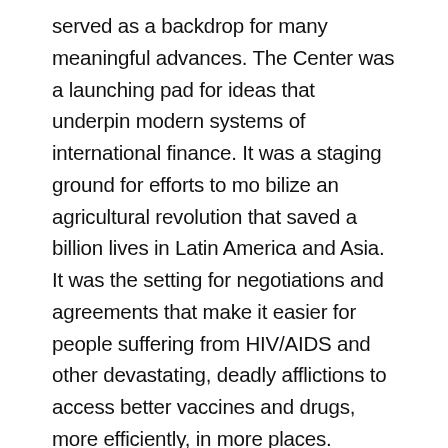served as a backdrop for many meaningful advances. The Center was a launching pad for ideas that underpin modern systems of international finance. It was a staging ground for efforts to mo bilize an agricultural revolution that saved a billion lives in Latin America and Asia. It was the setting for negotiations and agreements that make it easier for people suffering from HIV/AIDS and other devastating, deadly afflictions to access better vaccines and drugs, more efficiently, in more places.
To day, the world faces new economic challenges, different social strains, and unprecedented environmental threats. Therefore, the Bellagio Center's work—and way of working—has never been more significant. The Center